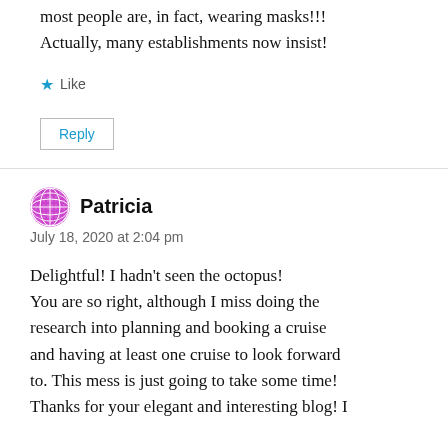most people are, in fact, wearing masks!!! Actually, many establishments now insist!
★ Like
Reply
Patricia
July 18, 2020 at 2:04 pm
Delightful! I hadn't seen the octopus! You are so right, although I miss doing the research into planning and booking a cruise and having at least one cruise to look forward to. This mess is just going to take some time! Thanks for your elegant and interesting blog! I